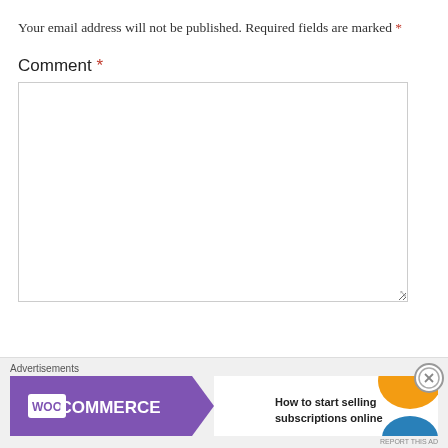Your email address will not be published. Required fields are marked *
Comment *
[Figure (screenshot): Empty comment text area input box with resize handle in bottom-right corner]
[Figure (screenshot): WooCommerce advertisement banner: 'How to start selling subscriptions online' with purple WooCommerce logo, green arrow, orange and blue decorative shapes, and a close (X) button]
Advertisements
REPORT THIS AD